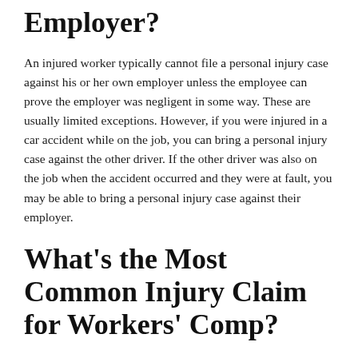Employer?
An injured worker typically cannot file a personal injury case against his or her own employer unless the employee can prove the employer was negligent in some way. These are usually limited exceptions. However, if you were injured in a car accident while on the job, you can bring a personal injury case against the other driver. If the other driver was also on the job when the accident occurred and they were at fault, you may be able to bring a personal injury case against their employer.
What’s the Most Common Injury Claim for Workers’ Comp?